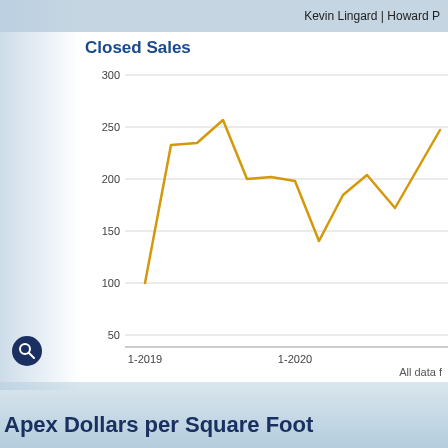Kevin Lingard | Howard P
Closed Sales
[Figure (line-chart): Line chart showing Closed Sales from 1-2019 through 1-2020+, with values ranging from ~100 to ~257]
All data f
Apex Dollars per Square Foot